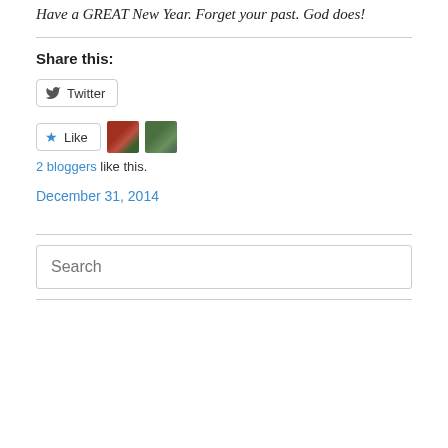Have a GREAT New Year. Forget your past. God does!
Share this:
[Figure (other): Twitter share button with bird icon]
[Figure (other): Like button with blue star icon and two blogger avatars]
2 bloggers like this.
December 31, 2014
Search